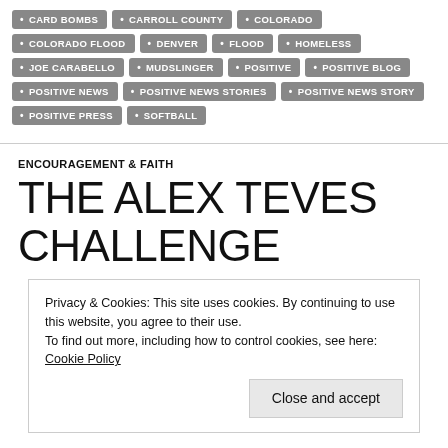CARD BOMBS
CARROLL COUNTY
COLORADO
COLORADO FLOOD
DENVER
FLOOD
HOMELESS
JOE CARABELLO
MUDSLINGER
POSITIVE
POSITIVE BLOG
POSITIVE NEWS
POSITIVE NEWS STORIES
POSITIVE NEWS STORY
POSITIVE PRESS
SOFTBALL
ENCOURAGEMENT & FAITH
THE ALEX TEVES CHALLENGE
Privacy & Cookies: This site uses cookies. By continuing to use this website, you agree to their use.
To find out more, including how to control cookies, see here: Cookie Policy
Close and accept